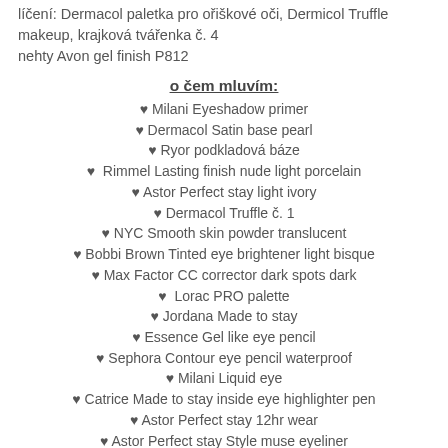líčení: Dermacol paletka pro ořiškové oči, Dermicol Truffle makeup, krajková tvářenka č. 4
nehty Avon gel finish P812
o čem mluvím:
♥ Milani Eyeshadow primer
♥ Dermacol Satin base pearl
♥ Ryor podkladová báze
♥ Rimmel Lasting finish nude light porcelain
♥ Astor Perfect stay light ivory
♥ Dermacol Truffle č. 1
♥ NYC Smooth skin powder translucent
♥ Bobbi Brown Tinted eye brightener light bisque
♥ Max Factor CC corrector dark spots dark
♥ Lorac PRO palette
♥ Jordana Made to stay
♥ Essence Gel like eye pencil
♥ Sephora Contour eye pencil waterproof
♥ Milani Liquid eye
♥ Catrice Made to stay inside eye highlighter pen
♥ Astor Perfect stay 12hr wear
♥ Astor Perfect stay Style muse eyeliner